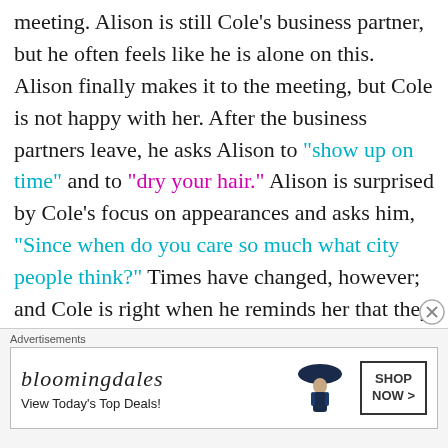meeting. Alison is still Cole's business partner, but he often feels like he is alone on this. Alison finally makes it to the meeting, but Cole is not happy with her. After the business partners leave, he asks Alison to "show up on time" and to "dry your hair." Alison is surprised by Cole's focus on appearances and asks him, "Since when do you care so much what city people think?" Times have changed, however; and Cole is right when he reminds her that they are not in high school anymore. It seems like Cole is
Advertisements
[Figure (other): Bloomingdale's advertisement banner with logo, tagline 'View Today's Top Deals!', woman wearing wide-brim hat, and 'SHOP NOW >' button]